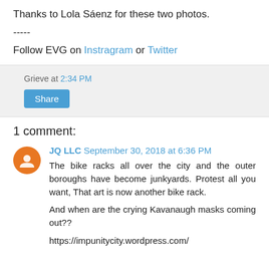Thanks to Lola Sáenz for these two photos.
-----
Follow EVG on Instragram or Twitter
Grieve at 2:34 PM
Share
1 comment:
JQ LLC September 30, 2018 at 6:36 PM
The bike racks all over the city and the outer boroughs have become junkyards. Protest all you want, That art is now another bike rack.

And when are the crying Kavanaugh masks coming out??

https://impunitycity.wordpress.com/